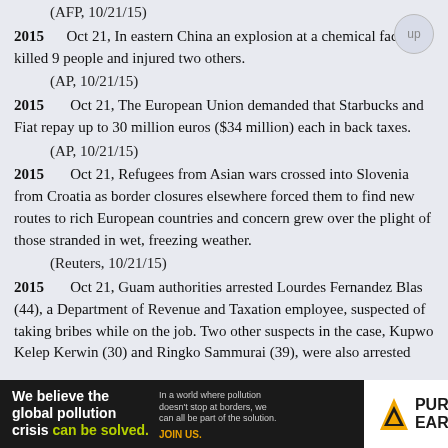(AFP, 10/21/15)
2015    Oct 21, In eastern China an explosion at a chemical factory killed 9 people and injured two others.
(AP, 10/21/15)
2015     Oct 21, The European Union demanded that Starbucks and Fiat repay up to 30 million euros ($34 million) each in back taxes.
(AP, 10/21/15)
2015     Oct 21, Refugees from Asian wars crossed into Slovenia from Croatia as border closures elsewhere forced them to find new routes to rich European countries and concern grew over the plight of those stranded in wet, freezing weather.
(Reuters, 10/21/15)
2015     Oct 21, Guam authorities arrested Lourdes Fernandez Blas (44), a Department of Revenue and Taxation employee, suspected of taking bribes while on the job. Two other suspects in the case, Kupwo Kelep Kerwin (30) and Ringko Sammurai (39), were also arrested
[Figure (infographic): Pure Earth advertisement banner: 'We believe the global pollution crisis can be solved.' with Pure Earth logo on dark background]